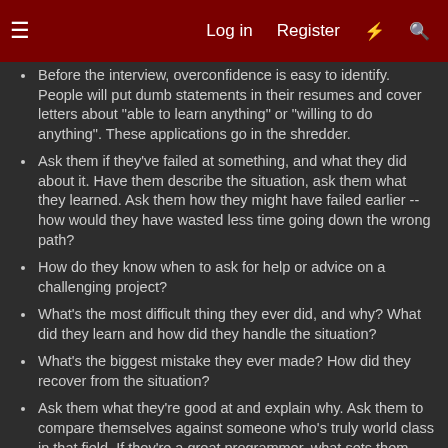Log in | Register
Before the interview, overconfidence is easy to identify. People will put dumb statements in their resumes and cover letters about "able to learn anything" or "willing to do anything". These applications go in the shredder.
Ask them if they've failed at something, and what they did about it. Have them describe the situation, ask them what they learned. Ask them how they might have failed earlier -- how would they have wasted less time going down the wrong path?
How do they know when to ask for help or advice on a challenging project?
What's the most difficult thing they ever did, and why? What did they learn and how did they handle the situation?
What's the biggest mistake they ever made? How did they recover from the situation?
Ask them what they're good at and explain why. Ask them to compare themselves against someone who's truly world class in that field. If they're a great programmer, what sets them apart from Donald Knuth?